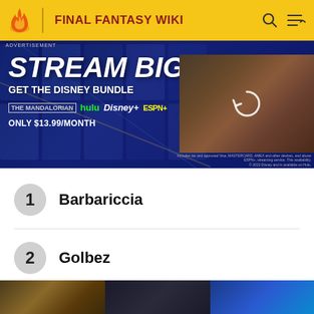FINAL FANTASY WIKI
[Figure (screenshot): Disney Bundle advertisement banner: 'STREAM BIG. GET THE DISNEY BUNDLE' with Hulu, Disney+, ESPN+ logos. ONLY $13.99/MONTH. Dark blue background with movie posters. Right side shows a video thumbnail with reload icon.]
1 Barbariccia
2 Golbez
3 Loot (Final Fantasy XII)
[Figure (screenshot): Bottom strip of images showing partial views of game/character artwork]